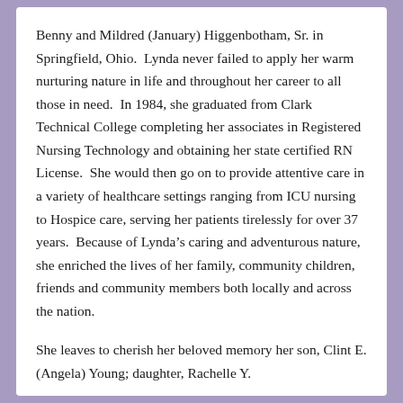Benny and Mildred (January) Higgenbotham, Sr. in Springfield, Ohio.  Lynda never failed to apply her warm nurturing nature in life and throughout her career to all those in need.  In 1984, she graduated from Clark Technical College completing her associates in Registered Nursing Technology and obtaining her state certified RN License.  She would then go on to provide attentive care in a variety of healthcare settings ranging from ICU nursing to Hospice care, serving her patients tirelessly for over 37 years.  Because of Lynda's caring and adventurous nature, she enriched the lives of her family, community children, friends and community members both locally and across the nation.
She leaves to cherish her beloved memory her son, Clint E. (Angela) Young; daughter, Rachelle Y.